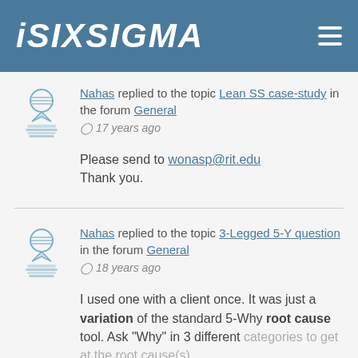ISIXSIGMA
Nahas replied to the topic Lean SS case-study in the forum General
⊙ 17 years ago
Please send to wonasp@rit.edu
Thank you.
Nahas replied to the topic 3-Legged 5-Y question in the forum General
⊙ 18 years ago
I used one with a client once. It was just a variation of the standard 5-Why root cause tool. Ask "Why" in 3 different categories to get at the root cause(s).